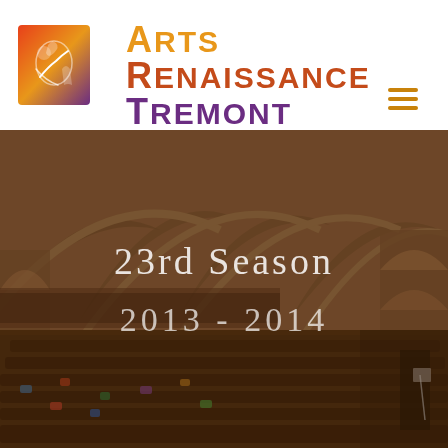[Figure (logo): Arts Renaissance Tremont organization logo — colorful abstract design with gradient from red/orange to purple on a square background]
Arts Renaissance Tremont
[Figure (photo): Interior of a large historic church hall filled with a large audience seated in pews. The hall features Gothic arched vaulted ceilings with tall arched windows along the sides. Warm amber/brown tones throughout. Overlaid with semi-transparent dark overlay and text '23rd Season' and '2013-2014'.]